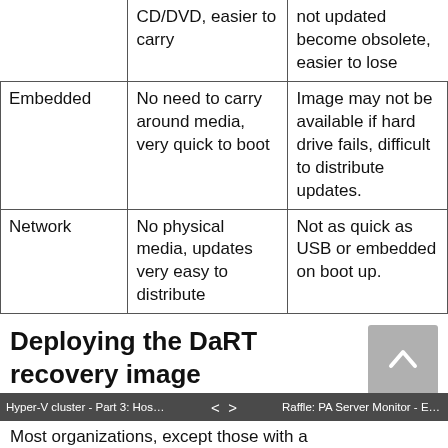|  | CD/DVD, easier to carry | not updated become obsolete, easier to lose |
| Embedded | No need to carry around media, very quick to boot | Image may not be available if hard drive fails, difficult to distribute updates. |
| Network | No physical media, updates very easy to distribute | Not as quick as USB or embedded on boot up. |
Deploying the DaRT recovery image
Hyper-V cluster - Part 3: Host serv... < > Raffle: PA Server Monitor - Easy W...
Most organizations, except those with a